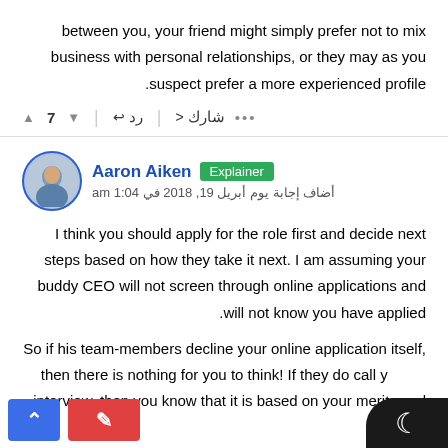between you, your friend might simply prefer not to mix business with personal relationships, or they may as you suspect prefer a more experienced profile.
▲ 7 ▼ | رد ← | شارك < | • • •
Aaron Aiken  Explainer
أضاف إجابة يوم أبريل 19, 2018 في 1:04 am
I think you should apply for the role first and decide next steps based on how they take it next. I am assuming your buddy CEO will not screen through online applications and will not know you have applied.
So if his team-members decline your online application itself, then there is nothing for you to think! If they do call you for an interview, then you know that it is based on your merits and not